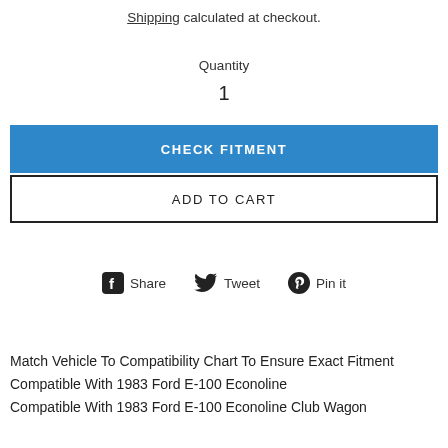Shipping calculated at checkout.
Quantity
1
CHECK FITMENT
ADD TO CART
Share  Tweet  Pin it
Match Vehicle To Compatibility Chart To Ensure Exact Fitment
Compatible With 1983 Ford E-100 Econoline
Compatible With 1983 Ford E-100 Econoline Club Wagon